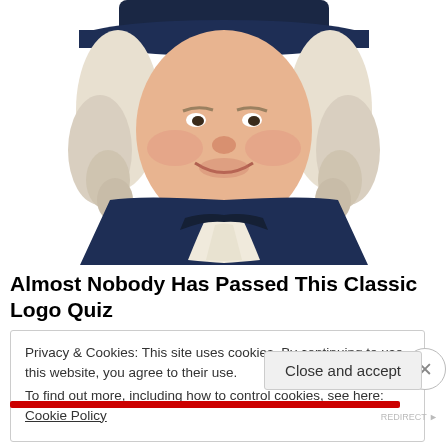[Figure (illustration): Illustration of the Quaker Oats man mascot — a smiling, rosy-cheeked man with white curled hair, wearing a dark blue colonial-era coat and white cravat, with a dark wide-brimmed hat, shown from the waist up against a white background.]
Almost Nobody Has Passed This Classic Logo Quiz
Privacy & Cookies: This site uses cookies. By continuing to use this website, you agree to their use.
To find out more, including how to control cookies, see here: Cookie Policy
Close and accept